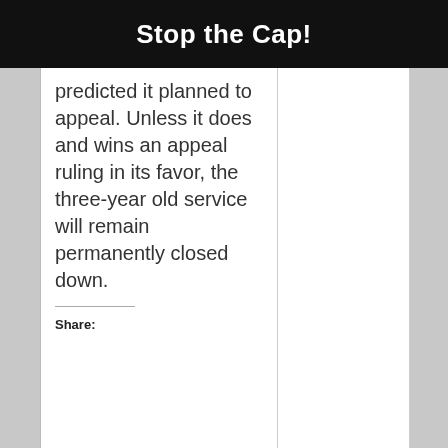Stop the Cap!
predicted it planned to appeal. Unless it does and wins an appeal ruling in its favor, the three-year old service will remain permanently closed down.
Share: